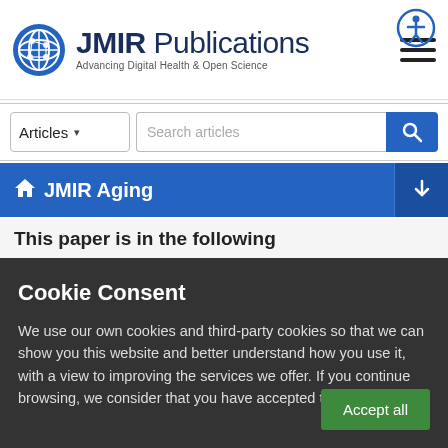[Figure (logo): JMIR Publications logo — globe icon + JMIR Publications text + 'Advancing Digital Health & Open Science' tagline]
[Figure (screenshot): Search bar with Articles dropdown and search field]
JMIR Aging
This paper is in the following
Cookie Consent
We use our own cookies and third-party cookies so that we can show you this website and better understand how you use it, with a view to improving the services we offer. If you continue browsing, we consider that you have accepted the cookies.